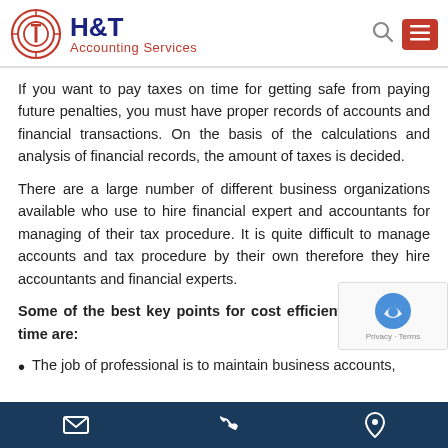H&T Accounting Services
If you want to pay taxes on time for getting safe from paying future penalties, you must have proper records of accounts and financial transactions. On the basis of the calculations and analysis of financial records, the amount of taxes is decided.
There are a large number of different business organizations available who use to hire financial expert and accountants for managing of their tax procedure. It is quite difficult to manage accounts and tax procedure by their own therefore they hire accountants and financial experts.
Some of the best key points for cost efficient services on time are:
The job of professional is to maintain business accounts,
✉  📞  📍